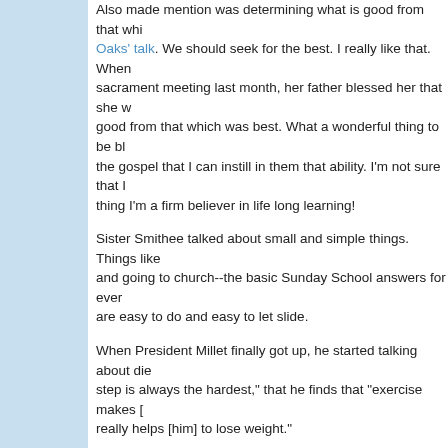Also made mention was determining what is good from that which... Oaks' talk. We should seek for the best. I really like that. When sacrament meeting last month, her father blessed her that she would good from that which was best. What a wonderful thing to be bl the gospel that I can instill in them that ability. I'm not sure that I thing I'm a firm believer in life long learning!
Sister Smithee talked about small and simple things. Things like and going to church--the basic Sunday School answers for every are easy to do and easy to let slide.
When President Millet finally got up, he started talking about die step is always the hardest," that he finds that "exercise makes [ really helps [him] to lose weight."
Andrew and I were both expecting him to tie that into something around on us and told us that we are a "fat" stake and that the l and we need to start doing that. He then rattled off a list of thing which I actually do recall, like not going into debt over the holida involved in things that take us outside of the home, etc.
I think that the theme the Stake Presidency was trying to put ac been pushing that in stake meetings for quite some time... But v need to be a better steward for the Lord.